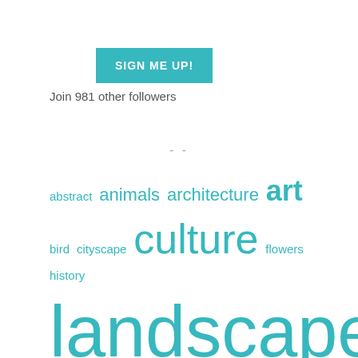[Figure (other): Teal/cyan 'SIGN ME UP!' button]
Join 981 other followers
- -
abstract animals architecture art bird cityscape culture flowers history landscape macro mammal meeting nature people photo-of-the-day photography plants review seasons spring street technic technical travel Uncategorized wildlife winter work